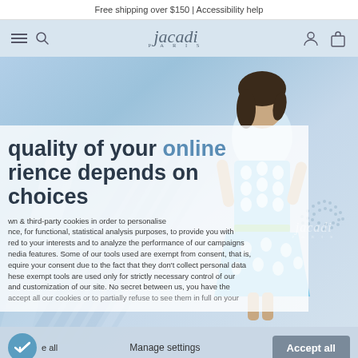Free shipping over $150 | Accessibility help
[Figure (screenshot): Jacadi Paris website navigation bar with hamburger menu, search icon, Jacadi Paris logo in center, user account icon and shopping bag icon on right, on a light blue background]
[Figure (photo): Jacadi Paris website homepage hero showing a young Asian girl in a blue and white polka dot dress with a green belt, standing in front of decorative diagonal stripe background elements in light blue tones]
quality of your online rience depends on choices
wn & third-party cookies in order to personalise nce, for functional, statistical analysis purposes, to provide you with red to your interests and to analyze the performance of our campaigns nedia features. Some of our tools used are exempt from consent, that is, equire your consent due to the fact that they don't collect personal data hese exempt tools are used only for strictly necessary control of our and customization of our site. No secret between us, you have the accept all our cookies or to partially refuse to see them in full on your
e all
Manage settings
Accept all